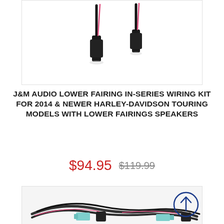[Figure (photo): Product photo of J&M Audio wiring connectors — two black plastic inline connectors with pink/red wires visible at top, against white background.]
J&M AUDIO LOWER FAIRING IN-SERIES WIRING KIT FOR 2014 & NEWER HARLEY-DAVIDSON TOURING MODELS WITH LOWER FAIRINGS SPEAKERS
$94.95  $119.99
[Figure (photo): Product photo of J&M Audio wiring harness — multi-wire harness with light blue connectors and velcro cable ties, dark gray wires, white background. Scroll-to-top arrow button overlaid at bottom right.]